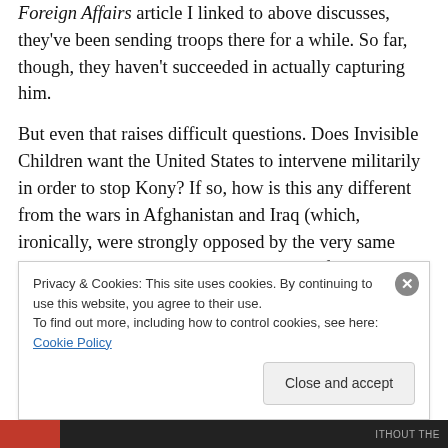Foreign Affairs article I linked to above discusses, they've been sending troops there for a while. So far, though, they haven't succeeded in actually capturing him.
But even that raises difficult questions. Does Invisible Children want the United States to intervene militarily in order to stop Kony? If so, how is this any different from the wars in Afghanistan and Iraq (which, ironically, were strongly opposed by the very same progressive-minded people who are now feverishly posting the Kony video on Facebook)? And if not, what exactly are ordinary
Privacy & Cookies: This site uses cookies. By continuing to use this website, you agree to their use.
To find out more, including how to control cookies, see here: Cookie Policy